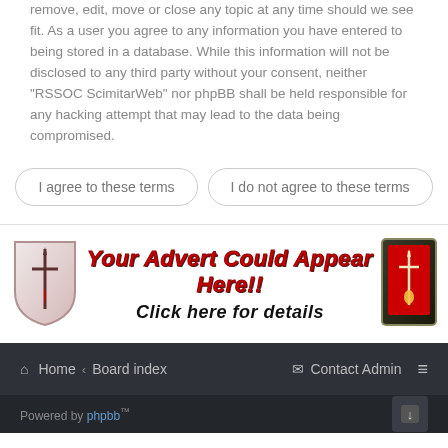remove, edit, move or close any topic at any time should we see fit. As a user you agree to any information you have entered to being stored in a database. While this information will not be disclosed to any third party without your consent, neither "RSSOC ScimitarWeb" nor phpBB shall be held responsible for any hacking attempt that may lead to the data being compromised.
I agree to these terms
I do not agree to these terms
[Figure (illustration): Advertisement banner with two Scimitar car club shield logos on left and right, red italic bold text 'Your Advert Could Appear Here!!' and black italic bold text 'Click here for details' in the center]
Home < Board index   Contact Admin ≡
Powered by phpbb™